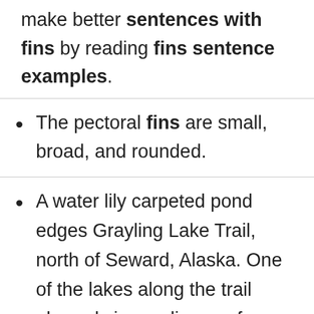make better sentences with fins by reading fins sentence examples.
The pectoral fins are small, broad, and rounded.
A water lily carpeted pond edges Grayling Lake Trail, north of Seward, Alaska. One of the lakes along the trail abounds in grayling, surface feeders with long dorsal fins.
And, it winglike fins get into the air, it